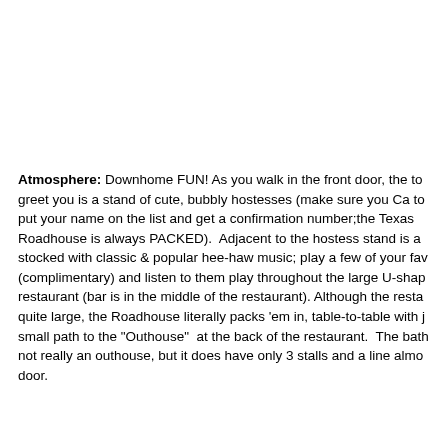Atmosphere: Downhome FUN! As you walk in the front door, the to greet you is a stand of cute, bubbly hostesses (make sure you Ca to put your name on the list and get a confirmation number;the Texas Roadhouse is always PACKED).  Adjacent to the hostess stand is a stocked with classic & popular hee-haw music; play a few of your fav (complimentary) and listen to them play throughout the large U-shap restaurant (bar is in the middle of the restaurant). Although the resta quite large, the Roadhouse literally packs 'em in, table-to-table with j small path to the "Outhouse"  at the back of the restaurant.  The bath not really an outhouse, but it does have only 3 stalls and a line almo door.